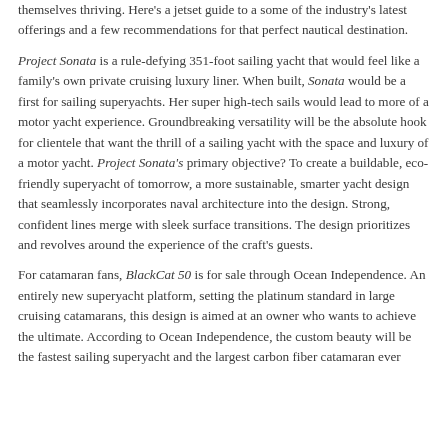themselves thriving. Here's a jetset guide to a some of the industry's latest offerings and a few recommendations for that perfect nautical destination.
Project Sonata is a rule-defying 351-foot sailing yacht that would feel like a family's own private cruising luxury liner. When built, Sonata would be a first for sailing superyachts. Her super high-tech sails would lead to more of a motor yacht experience. Groundbreaking versatility will be the absolute hook for clientele that want the thrill of a sailing yacht with the space and luxury of a motor yacht. Project Sonata's primary objective? To create a buildable, eco-friendly superyacht of tomorrow, a more sustainable, smarter yacht design that seamlessly incorporates naval architecture into the design. Strong, confident lines merge with sleek surface transitions. The design prioritizes and revolves around the experience of the craft's guests.
For catamaran fans, BlackCat 50 is for sale through Ocean Independence. An entirely new superyacht platform, setting the platinum standard in large cruising catamarans, this design is aimed at an owner who wants to achieve the ultimate. According to Ocean Independence, the custom beauty will be the fastest sailing superyacht and the largest carbon fiber catamaran ever